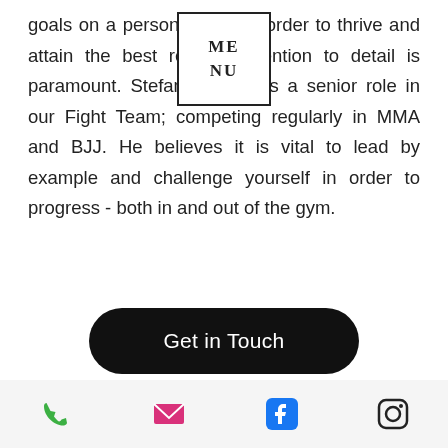goals on a personal level in order to thrive and attain the best results. Attention to detail is paramount. Stefan also plays a senior role in our Fight Team; competing regularly in MMA and BJJ. He believes it is vital to lead by example and challenge yourself in order to progress - both in and out of the gym.
Get in Touch
[Figure (photo): Circular portrait photo of a bald man smiling, appearing to be in a gym setting]